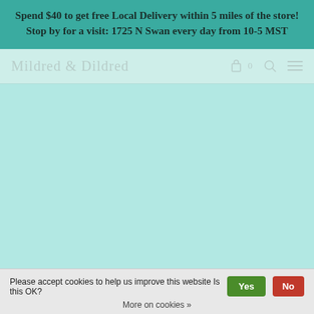Spend $40 to get free Local Delivery within 5 miles of the store!
Stop by for a visit: 1725 N Swan every day from 10-5 MST
Mildred & Dildred
Please accept cookies to help us improve this website Is this OK?
More on cookies »